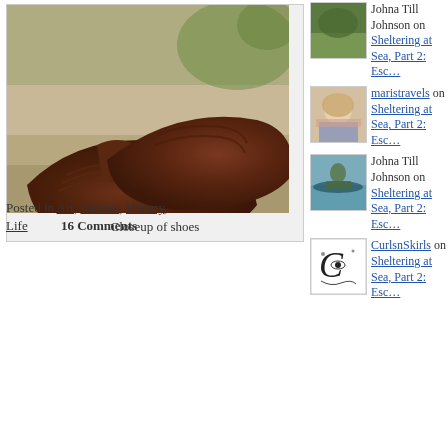[Figure (photo): Closeup photograph of brown leather woven/braided shoes or sandals resting on stone steps]
Closeup of shoes
[Figure (photo): Small thumbnail: green/nature scene]
Johna Till Johnson on
Sheltering at Sea, Part 2: Esc…
[Figure (photo): Small thumbnail: elderly woman with light hair and pink scarf]
maristravels on
Sheltering at Sea, Part 2: Esc…
[Figure (photo): Small thumbnail: person kayaking on water]
Johna Till Johnson on
Sheltering at Sea, Part 2: Esc…
[Figure (illustration): Small thumbnail: black and white decorative swirl with eye motif — CurlsnSkirls avatar]
CurlsnSkirls on
Sheltering at Sea, Part 2: Esc…
Posted in Art, Culture, History, Life    16 Comments